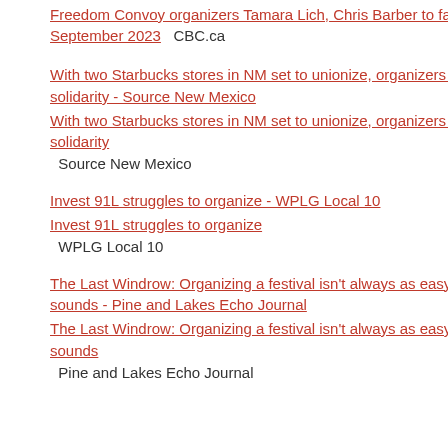Freedom Convoy organizers Tamara Lich, Chris Barber to face trial in September 2023  CBC.ca
With two Starbucks stores in NM set to unionize, organizers feel solidarity - Source New Mexico  With two Starbucks stores in NM set to unionize, organizers feel solidarity  Source New Mexico
Invest 91L struggles to organize - WPLG Local 10  Invest 91L struggles to organize  WPLG Local 10
The Last Windrow: Organizing a festival isn't always as easy as it sounds - Pine and Lakes Echo Journal  The Last Windrow: Organizing a festival isn't always as easy as it sounds  Pine and Lakes Echo Journal